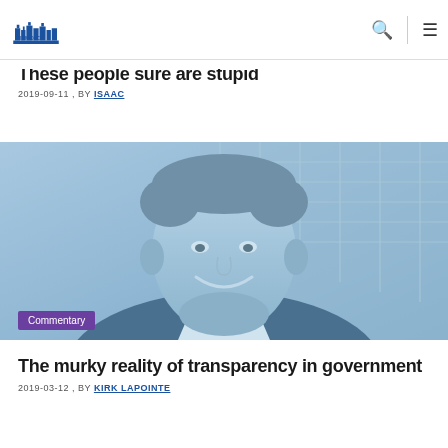GITMO.CA — navigation header with search and menu icons
These people sure are stupid
2019-09-11 , BY ISAAC
[Figure (photo): Blue-toned photo of a smiling middle-aged man in a suit with a building in the background. A purple 'Commentary' badge overlays the bottom-left corner.]
The murky reality of transparency in government
2019-03-12 , BY KIRK LAPOINTE